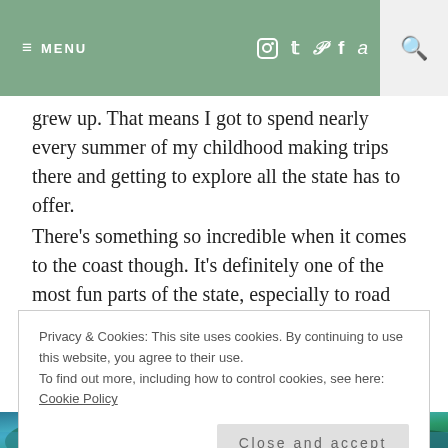≡ MENU   [icons: instagram, twitter, pinterest, facebook, amazon]   [search]
grew up. That means I got to spend nearly every summer of my childhood making trips there and getting to explore all the state has to offer.
There's something so incredible when it comes to the coast though. It's definitely one of the most fun parts of the state, especially to road trip!
Whether you are planning a road trip or just wanting a
Privacy & Cookies: This site uses cookies. By continuing to use this website, you agree to their use.
To find out more, including how to control cookies, see here: Cookie Policy
Close and accept
[Figure (photo): Bottom strip of a coastal or nature photo showing teal/blue-green water and foliage]